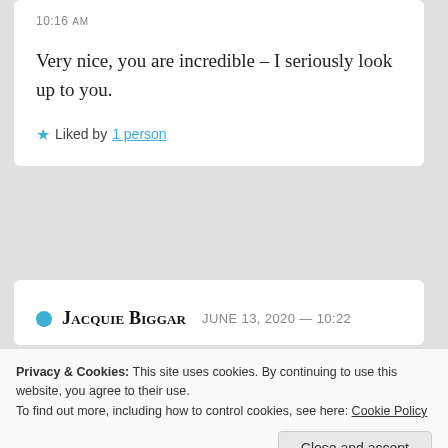10:16 AM
Very nice, you are incredible – I seriously look up to you.
★ Liked by 1 person
Jacquie Biggar  June 13, 2020 — 10:22
Privacy & Cookies: This site uses cookies. By continuing to use this website, you agree to their use.
To find out more, including how to control cookies, see here: Cookie Policy